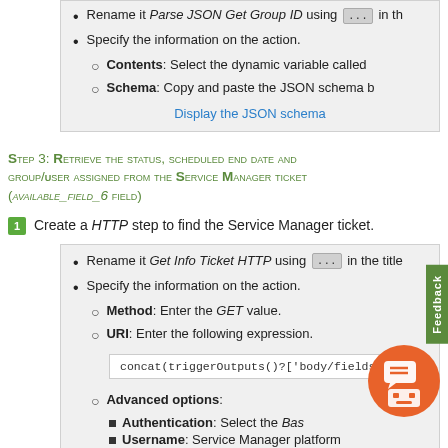Rename it Parse JSON Get Group ID using ... in th
Specify the information on the action.
Contents: Select the dynamic variable called
Schema: Copy and paste the JSON schema b
Display the JSON schema
Step 3: Retrieve the status, scheduled end date and group/user assigned from the Service Manager ticket (available_field_6 field)
1. Create a HTTP step to find the Service Manager ticket.
Rename it Get Info Ticket HTTP using ... in the title
Specify the information on the action.
Method: Enter the GET value.
URI: Enter the following expression.
concat(triggerOutputs()?['body/fields/...
Advanced options:
Authentication: Select the Bas...
Username: Service Manager platform
Password: Password of the Service...